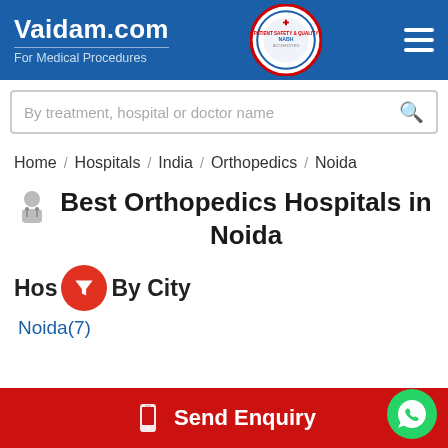Vaidam.com — For Medical Procedures
By treatment, hospital or doctor name
Home / Hospitals / India / Orthopedics / Noida
Best Orthopedics Hospitals in Noida
Hospitals By City
Noida(7)
Send Enquiry